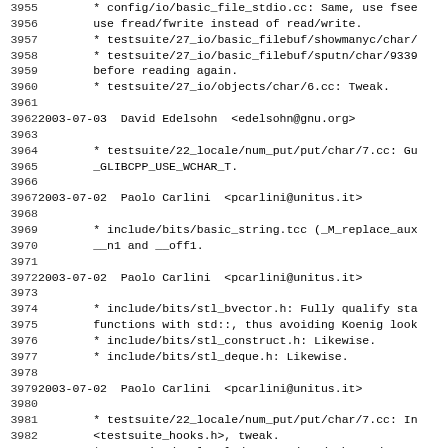3955   * config/io/basic_file_stdio.cc: Same, use fsee
3956         use fread/fwrite instead of read/write.
3957         * testsuite/27_io/basic_filebuf/showmanyc/char/
3958         * testsuite/27_io/basic_filebuf/sputn/char/9339
3959         before reading again.
3960         * testsuite/27_io/objects/char/6.cc: Tweak.
3961
3962 2003-07-03  David Edelsohn  <edelsohn@gnu.org>
3963
3964         * testsuite/22_locale/num_put/put/char/7.cc: Gu
3965         _GLIBCPP_USE_WCHAR_T.
3966
3967 2003-07-02  Paolo Carlini  <pcarlini@unitus.it>
3968
3969         * include/bits/basic_string.tcc (_M_replace_aux
3970         __n1 and __off1.
3971
3972 2003-07-02  Paolo Carlini  <pcarlini@unitus.it>
3973
3974         * include/bits/stl_bvector.h: Fully qualify sta
3975         functions with std::, thus avoiding Koenig look
3976         * include/bits/stl_construct.h: Likewise.
3977         * include/bits/stl_deque.h: Likewise.
3978
3979 2003-07-02  Paolo Carlini  <pcarlini@unitus.it>
3980
3981         * testsuite/22_locale/num_put/put/char/7.cc: In
3982         <testsuite_hooks.h>, tweak.
3983         * testsuite/22_locale/num_put/put/wchar_t/7.cc:
3984
3985 2003-07-01  Phil Edwards  <pme@gcc.gnu.org>
3986